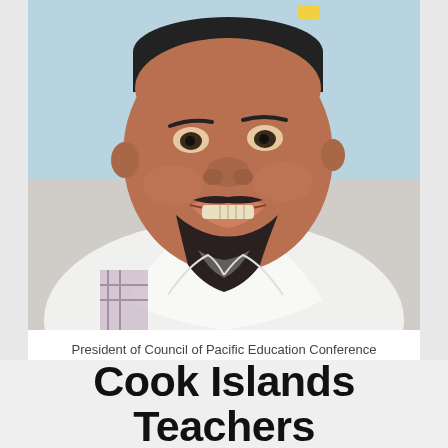[Figure (photo): Close-up portrait photo of a smiling Pacific Islander man with a beard and mustache, wearing a white collared shirt, with a light blue sky background.]
President of Council of Pacific Education Conference (COPE)
Thomas Taurongo Wynn - Cook Islands News
Cook Islands Teachers